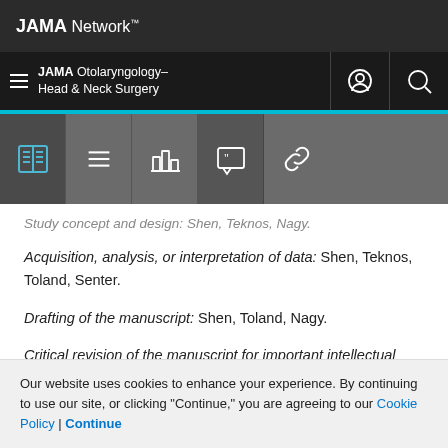JAMA Network
JAMA Otolaryngology–Head & Neck Surgery
Study concept and design: Shen, Teknos, Nagy.
Acquisition, analysis, or interpretation of data: Shen, Teknos, Toland, Senter.
Drafting of the manuscript: Shen, Toland, Nagy.
Critical revision of the manuscript for important intellectual content: All authors.
Our website uses cookies to enhance your experience. By continuing to use our site, or clicking "Continue," you are agreeing to our Cookie Policy | Continue